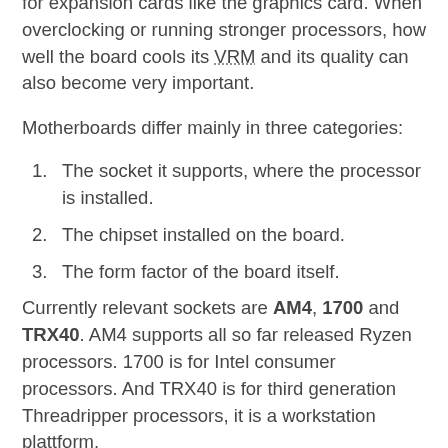for expansion cards like the graphics card. When overclocking or running stronger processors, how well the board cools its VRM and its quality can also become very important.
Motherboards differ mainly in three categories:
The socket it supports, where the processor is installed.
The chipset installed on the board.
The form factor of the board itself.
Currently relevant sockets are AM4, 1700 and TRX40. AM4 supports all so far released Ryzen processors. 1700 is for Intel consumer processors. And TRX40 is for third generation Threadripper processors, it is a workstation plattform.
Chipsets define some additional capabilities of the